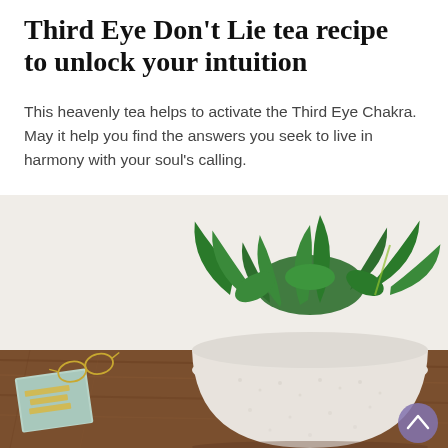Third Eye Don't Lie tea recipe to unlock your intuition
This heavenly tea helps to activate the Third Eye Chakra. May it help you find the answers you seek to live in harmony with your soul's calling.
[Figure (photo): A white textured ceramic pot containing lush green basil plants, sitting on a wooden surface. To the left is a book titled 'RISE SISTER RISE' with glasses resting on top. A scroll-up navigation button appears in the bottom right corner.]